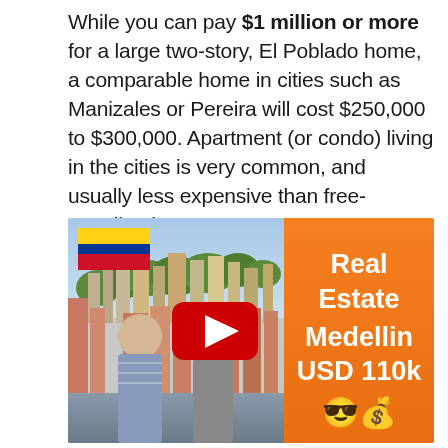While you can pay $1 million or more for a large two-story, El Poblado home, a comparable home in cities such as Manizales or Pereira will cost $250,000 to $300,000. Apartment (or condo) living in the cities is very common, and usually less expensive than free-standing homes.
[Figure (screenshot): YouTube video thumbnail showing two men standing in front of a Medellin cityscape with Colombian flag overlay, a red YouTube play button in the center, and an orange panel on the right reading 'Real Estate Medellin USD 110k' with sunglasses and money bag emojis.]